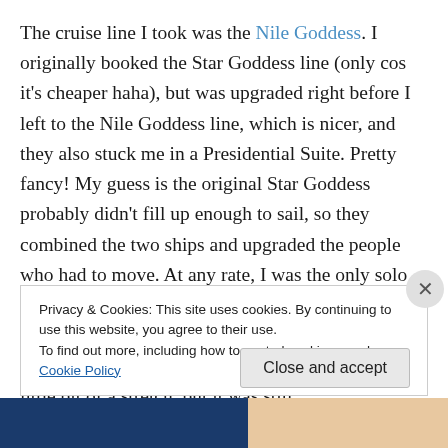The cruise line I took was the Nile Goddess. I originally booked the Star Goddess line (only cos it's cheaper haha), but was upgraded right before I left to the Nile Goddess line, which is nicer, and they also stuck me in a Presidential Suite. Pretty fancy! My guess is the original Star Goddess probably didn't fill up enough to sail, so they combined the two ships and upgraded the people who had to move. At any rate, I was the only solo person on the boat – and ended up in one of the biggest rooms! So that was nice!! The cruise line is advertised as being 5 Star… I think that may be a little bit of a stretch, but it was still
Privacy & Cookies: This site uses cookies. By continuing to use this website, you agree to their use.
To find out more, including how to control cookies, see here: Cookie Policy
Close and accept